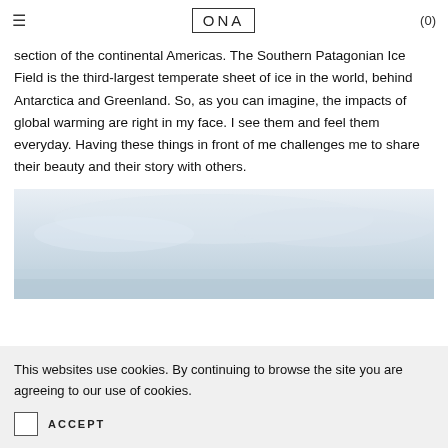≡   ONA   (0)
section of the continental Americas. The Southern Patagonian Ice Field is the third-largest temperate sheet of ice in the world, behind Antarctica and Greenland. So, as you can imagine, the impacts of global warming are right in my face. I see them and feel them everyday. Having these things in front of me challenges me to share their beauty and their story with others.
[Figure (photo): A pale blue-grey photograph of a glacial or icy landscape with overcast sky, appearing washed out and light in tone.]
This websites use cookies. By continuing to browse the site you are agreeing to our use of cookies.
ACCEPT